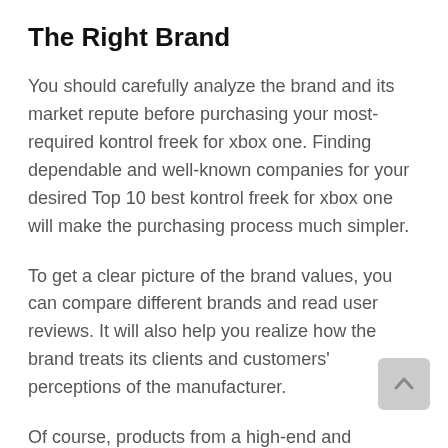The Right Brand
You should carefully analyze the brand and its market repute before purchasing your most-required kontrol freek for xbox one. Finding dependable and well-known companies for your desired Top 10 best kontrol freek for xbox one will make the purchasing process much simpler.
To get a clear picture of the brand values, you can compare different brands and read user reviews. It will also help you realize how the brand treats its clients and customers' perceptions of the manufacturer.
Of course, products from a high-end and reputable manufacturer will be pricier than an average brand